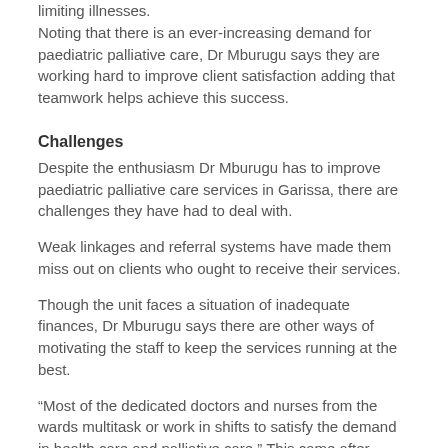limiting illnesses. Noting that there is an ever-increasing demand for paediatric palliative care, Dr Mburugu says they are working hard to improve client satisfaction adding that teamwork helps achieve this success.
Challenges
Despite the enthusiasm Dr Mburugu has to improve paediatric palliative care services in Garissa, there are challenges they have had to deal with.
Weak linkages and referral systems have made them miss out on clients who ought to receive their services.
Though the unit faces a situation of inadequate finances, Dr Mburugu says there are other ways of motivating the staff to keep the services running at the best.
“Most of the dedicated doctors and nurses from the wards multitask or work in shifts to satisfy the demand in health care and palliative care.” This came after realization of the burnout that the staff was enduring that led to KEHRCA, APHIA PLUS and Hospice Care